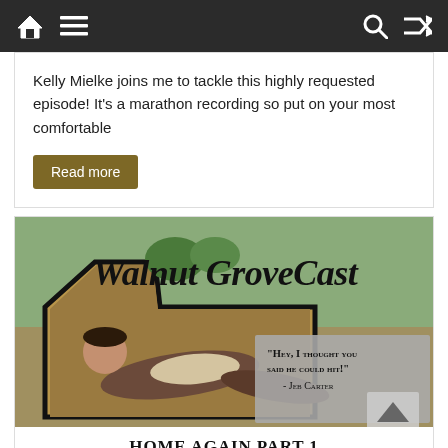Navigation bar with home, menu, search, and shuffle icons
Kelly Mielke joins me to tackle this highly requested episode!  It's a marathon recording so put on your most comfortable
Read more
[Figure (illustration): Walnut GroveCast podcast cover art. Shows a person lying on the ground in period clothing, with the text 'Walnut GroveCast' in script, and a grey overlay quote box reading: "Hey, I thought you said he could hit!" - Jeb Carter]
Home Again Part 1
Originally aired on February 7, 1983